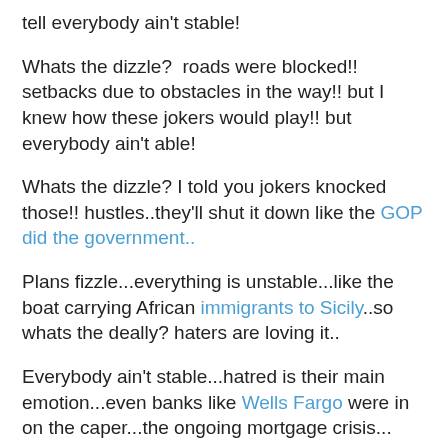tell everybody ain't stable!
Whats the dizzle?  roads were blocked!! setbacks due to obstacles in the way!! but I knew how these jokers would play!! but everybody ain't able!
Whats the dizzle? I told you jokers knocked those!! hustles..they'll shut it down like the GOP did the government..
Plans fizzle...everything is unstable...like the boat carrying African immigrants to Sicily..so whats the deally? haters are loving it..
Everybody ain't stable...hatred is their main emotion...even banks like Wells Fargo were in on the caper...the ongoing mortgage crisis...
Everybody ain't able...oh they had notions...but the plan fails from the get go.. they manage to get in